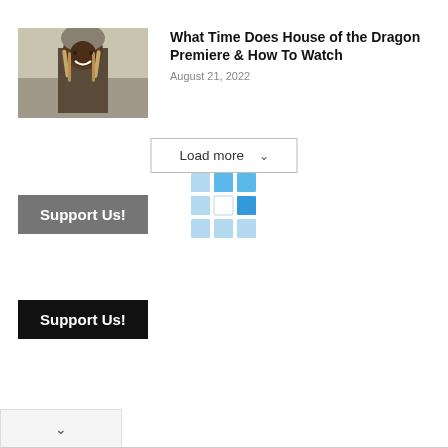[Figure (photo): Thumbnail image of a warrior/viking character from House of the Dragon, wearing armor and long hair, in muted tones]
What Time Does House of the Dragon Premiere & How To Watch
August 21, 2022
Load more ∨
[Figure (other): Loading spinner grid of blue squares in a 3x3 pattern]
Support Us!
Support Us!